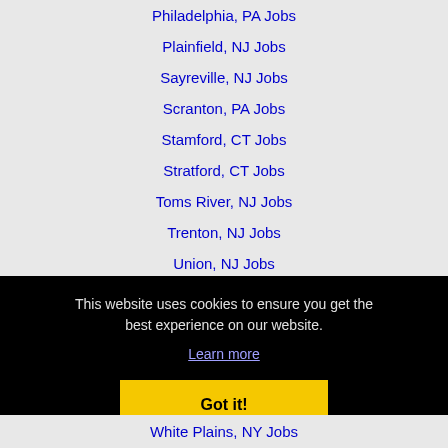Philadelphia, PA Jobs
Plainfield, NJ Jobs
Sayreville, NJ Jobs
Scranton, PA Jobs
Stamford, CT Jobs
Stratford, CT Jobs
Toms River, NJ Jobs
Trenton, NJ Jobs
Union, NJ Jobs
Union City, NJ Jobs
This website uses cookies to ensure you get the best experience on our website.
Learn more
Got it!
White Plains, NY Jobs